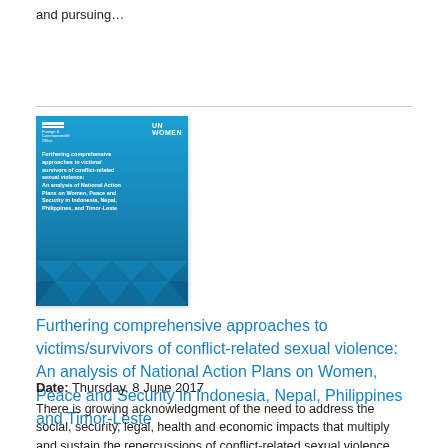and pursuing…
[Figure (illustration): Book cover with blue gradient background showing title text about furthering comprehensive approaches to victims/survivors of conflict-related sexual violence, with logos at top and diamond pattern at bottom]
Furthering comprehensive approaches to victims/survivors of conflict-related sexual violence: An analysis of National Action Plans on Women, Peace and Security in Indonesia, Nepal, Philippines and Timor-Leste
Date: Thursday, 8 June 2017
There is growing acknowledgment of the need to address the social, security, legal, health and economic impacts that multiply and sustain the repercussions of conflict-related sexual violence (CRSV) in the lives of women and girls globally. Less recognition has been given to the needs of the children of victims/survivors of CRSV, including those born of rape. An intricate set of rights impediments and needs arise for both victims/survivors and their children that require urgent attention and…